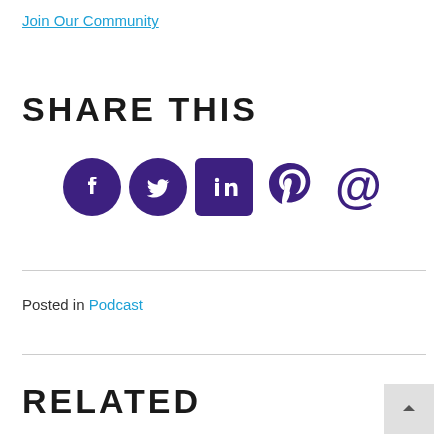Join Our Community
SHARE THIS
[Figure (infographic): Social media share icons: Facebook (circle), Twitter (circle), LinkedIn (square), Pinterest (plain), Email (plain) — all in dark purple (#3d2080)]
Posted in Podcast
RELATED